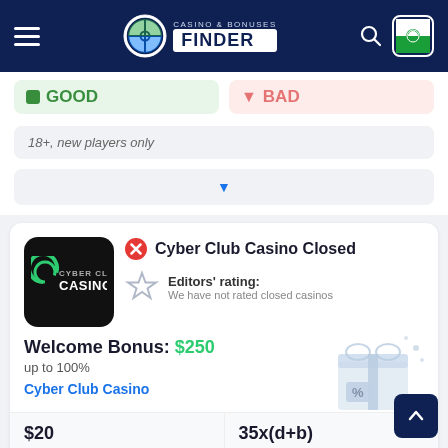Casino & Bonuses Finder
GOOD | BAD
18+, new players only
Cyber Club Casino Closed
Editors' rating: We have not rated closed casinos
Welcome Bonus: $250 up to 100%
Cyber Club Casino
$20 Min Dep
35x(d+b) Wager